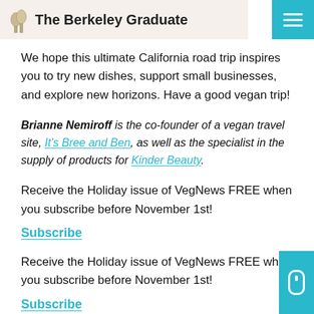The Berkeley Graduate
We hope this ultimate California road trip inspires you to try new dishes, support small businesses, and explore new horizons. Have a good vegan trip!
Brianne Nemiroff is the co-founder of a vegan travel site, It's Bree and Ben, as well as the specialist in the supply of products for Kinder Beauty.
Receive the Holiday issue of VegNews FREE when you subscribe before November 1st!
Subscribe
Receive the Holiday issue of VegNews FREE when you subscribe before November 1st!
Subscribe